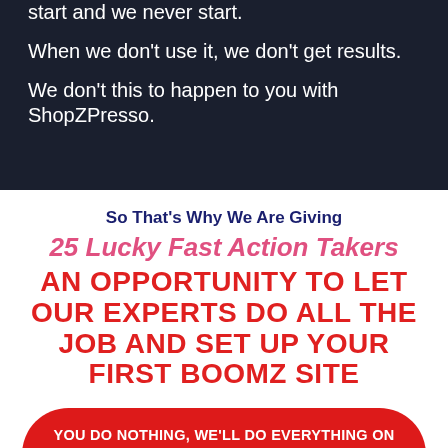start and we never start.
When we don't use it, we don't get results.
We don't this to happen to you with ShopZPresso.
So That's Why We Are Giving
25 Lucky Fast Action Takers
AN OPPORTUNITY TO LET OUR EXPERTS DO ALL THE JOB AND SET UP YOUR FIRST BOOMZ SITE
YOU DO NOTHING, WE'LL DO EVERYTHING ON YOUR BEHALF AND HELP YOU GET RESULTS FAST